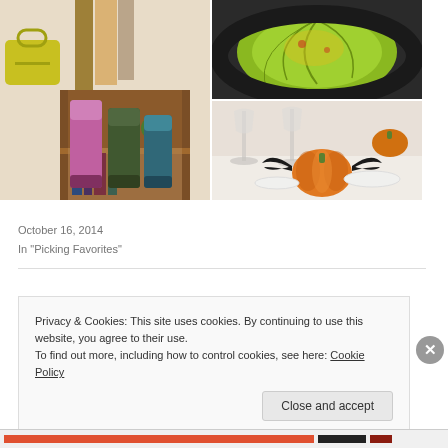[Figure (photo): Collage of three photos: left shows colorful rubber boots and a yellow purse on a wooden shelf; top-right shows a green cabbage on a dark plate with dressing; bottom-right shows mini pumpkins with bat wings as Halloween table decorations]
Picking Favorites
October 16, 2014
In "Picking Favorites"
Privacy & Cookies: This site uses cookies. By continuing to use this website, you agree to their use.
To find out more, including how to control cookies, see here: Cookie Policy